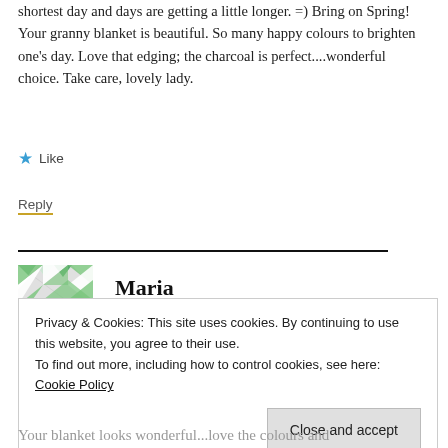shortest day and days are getting a little longer. =) Bring on Spring! Your granny blanket is beautiful. So many happy colours to brighten one's day. Love that edging; the charcoal is perfect....wonderful choice. Take care, lovely lady.
★ Like
Reply
Maria
Privacy & Cookies: This site uses cookies. By continuing to use this website, you agree to their use.
To find out more, including how to control cookies, see here: Cookie Policy
Close and accept
Your blanket looks wonderful...love the colours and